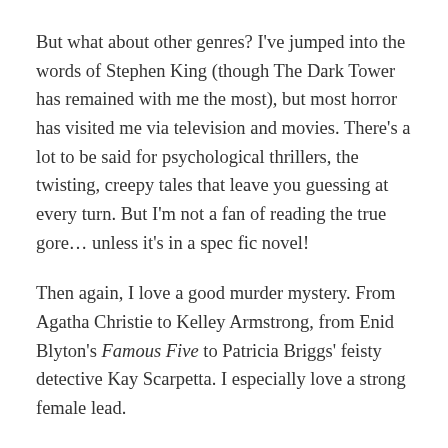But what about other genres? I've jumped into the words of Stephen King (though The Dark Tower has remained with me the most), but most horror has visited me via television and movies. There's a lot to be said for psychological thrillers, the twisting, creepy tales that leave you guessing at every turn. But I'm not a fan of reading the true gore… unless it's in a spec fic novel!
Then again, I love a good murder mystery. From Agatha Christie to Kelley Armstrong, from Enid Blyton's Famous Five to Patricia Briggs' feisty detective Kay Scarpetta. I especially love a strong female lead.
Back to the question. Do I read widely or only within the genre I write for? The honest answer has to be, both. How, I hear you say?